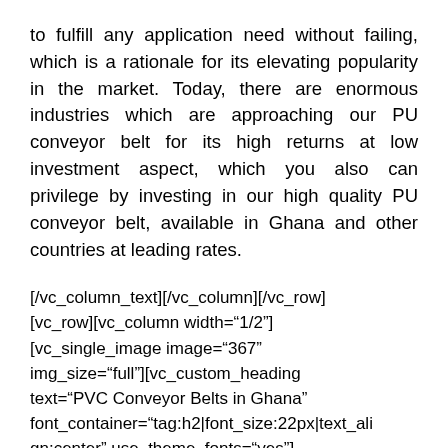to fulfill any application need without failing, which is a rationale for its elevating popularity in the market. Today, there are enormous industries which are approaching our PU conveyor belt for its high returns at low investment aspect, which you also can privilege by investing in our high quality PU conveyor belt, available in Ghana and other countries at leading rates.
[/vc_column_text][/vc_column][/vc_row][vc_row][vc_column width="1/2"][vc_single_image image="367" img_size="full"][vc_custom_heading text="PVC Conveyor Belts in Ghana" font_container="tag:h2|font_size:22px|text_ali gn:center" use_theme_fonts="yes"]